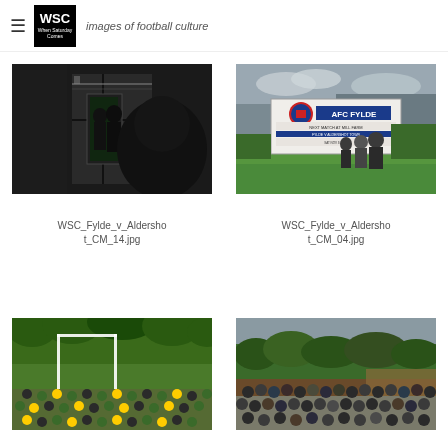WSC — images of football culture
[Figure (photo): Dark silhouette photo of people entering a doorway at a football ground, interior dark with hint of green pitch visible]
WSC_Fylde_v_Aldershot_CM_14.jpg
[Figure (photo): Exterior photo showing AFC Fylde signage with people walking past, overcast sky and green grass visible]
WSC_Fylde_v_Aldershot_CM_04.jpg
[Figure (photo): Group photo of football team with goal post visible, surrounded by foliage]
[Figure (photo): Crowd of spectators gathered outdoors at a football venue, trees visible in background]